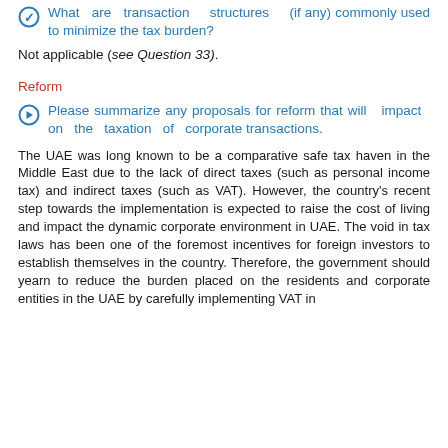What are transaction structures (if any) commonly used to minimize the tax burden?
Not applicable (see Question 33).
Reform
Please summarize any proposals for reform that will impact on the taxation of corporate transactions.
The UAE was long known to be a comparative safe tax haven in the Middle East due to the lack of direct taxes (such as personal income tax) and indirect taxes (such as VAT). However, the country's recent step towards the implementation is expected to raise the cost of living and impact the dynamic corporate environment in UAE. The void in tax laws has been one of the foremost incentives for foreign investors to establish themselves in the country. Therefore, the government should yearn to reduce the burden placed on the residents and corporate entities in the UAE by carefully implementing VAT in